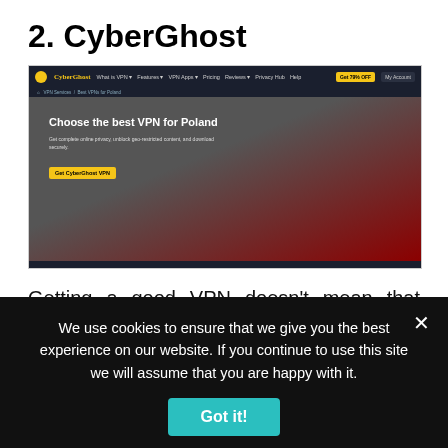2. CyberGhost
[Figure (screenshot): Screenshot of the CyberGhost VPN website showing the 'Choose the best VPN for Poland' hero section with navigation bar, device icons at the bottom, and a yellow 'Get CyberGhost VPN' call-to-action button.]
Getting a good VPN doesn't mean that you've gotta break the bank. CyberGhost is a prime example of that due to its affordable prices, yet premium performance. For the price,
We use cookies to ensure that we give you the best experience on our website. If you continue to use this site we will assume that you are happy with it.
Got it!